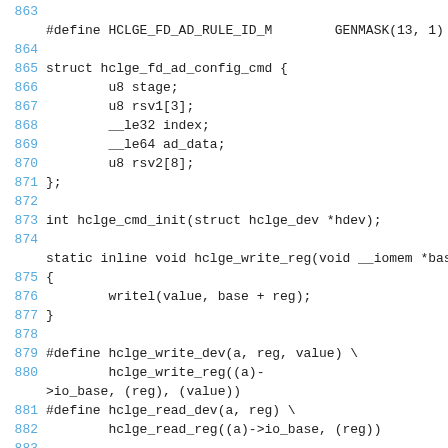[Figure (screenshot): Source code listing showing C struct definitions and macro definitions for hclge network driver, lines 863–884. Includes HCLGE_FD_AD_RULE_ID_M macro, hclge_fd_ad_config_cmd struct, hclge_cmd_init function prototype, hclge_write_reg static inline function, and hclge_write_dev and hclge_read_dev macros.]